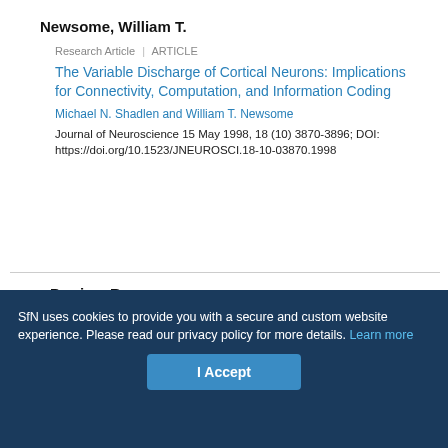Newsome, William T.
Research Article | ARTICLE
The Variable Discharge of Cortical Neurons: Implications for Connectivity, Computation, and Information Coding
Michael N. Shadlen and William T. Newsome
Journal of Neuroscience 15 May 1998, 18 (10) 3870-3896; DOI: https://doi.org/10.1523/JNEUROSCI.18-10-03870.1998
Perrins, Ray
Research Article | ARTICLE
SfN uses cookies to provide you with a secure and custom website experience. Please read our privacy policy for more details. Learn more
I Accept